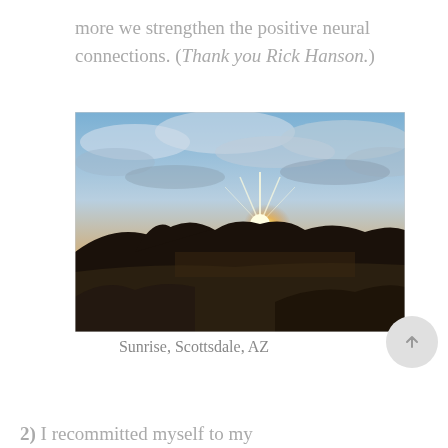more we strengthen the positive neural connections. (Thank you Rick Hanson.)
[Figure (photo): Sunrise landscape photo taken from an elevated vantage point in Scottsdale, AZ. The sun is rising over a mountainous desert terrain with city spread below and dramatic cloudy sky above.]
Sunrise, Scottsdale, AZ
2) I recommitted myself to my